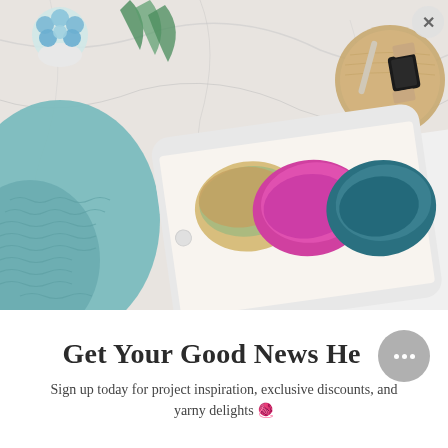[Figure (photo): Overhead lifestyle photo on marble surface featuring a tablet displaying three skeins of yarn (multicolored, magenta/pink, and teal), surrounded by a teal knitted blanket/scarf, blue flowers in a pot, fern leaves, and crafting tools on a wooden tray. A close (X) button appears top-right and a chat bubble overlay bottom-right.]
Get Your Good News Here
Sign up today for project inspiration, exclusive discounts, and yarny delights 🧶